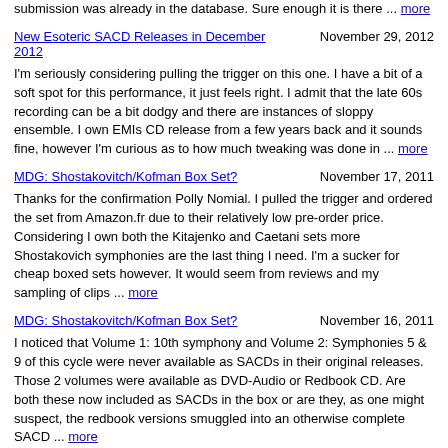submission was already in the database. Sure enough it is there ... more
New Esoteric SACD Releases in December 2012
November 29, 2012
I'm seriously considering pulling the trigger on this one. I have a bit of a soft spot for this performance, it just feels right. I admit that the late 60s recording can be a bit dodgy and there are instances of sloppy ensemble. I own EMIs CD release from a few years back and it sounds fine, however I'm curious as to how much tweaking was done in ... more
MDG: Shostakovitch/Kofman Box Set?
November 17, 2011
Thanks for the confirmation Polly Nomial. I pulled the trigger and ordered the set from Amazon.fr due to their relatively low pre-order price. Considering I own both the Kitajenko and Caetani sets more Shostakovich symphonies are the last thing I need. I'm a sucker for cheap boxed sets however. It would seem from reviews and my sampling of clips ... more
MDG: Shostakovitch/Kofman Box Set?
November 16, 2011
I noticed that Volume 1: 10th symphony and Volume 2: Symphonies 5 & 9 of this cycle were never available as SACDs in their original releases. Those 2 volumes were available as DVD-Audio or Redbook CD. Are both these now included as SACDs in the box or are they, as one might suspect, the redbook versions smuggled into an otherwise complete SACD ... more